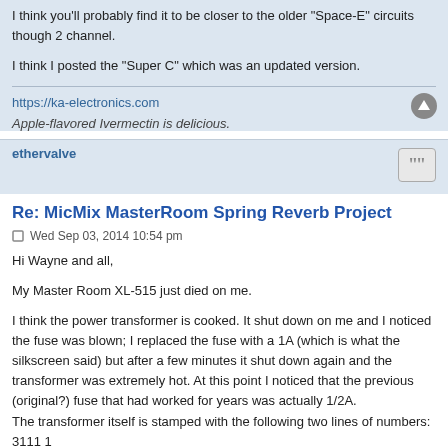I think you'll probably find it to be closer to the older 'Space-E' circuits though 2 channel.
I think I posted the "Super C" which was an updated version.
https://ka-electronics.com
Apple-flavored Ivermectin is delicious.
ethervalve
Re: MicMix MasterRoom Spring Reverb Project
Wed Sep 03, 2014 10:54 pm
Hi Wayne and all,
My Master Room XL-515 just died on me.
I think the power transformer is cooked. It shut down on me and I noticed the fuse was blown; I replaced the fuse with a 1A (which is what the silkscreen said) but after a few minutes it shut down again and the transformer was extremely hot. At this point I noticed that the previous (original?) fuse that had worked for years was actually 1/2A.
The transformer itself is stamped with the following two lines of numbers:
3111 1